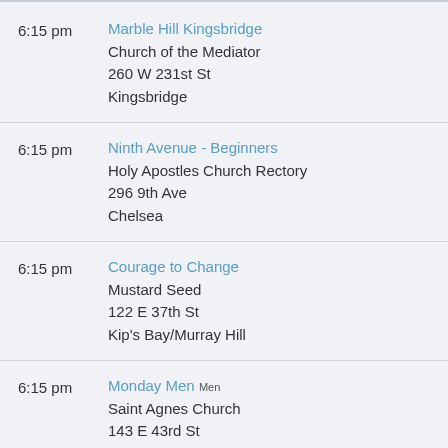6:15 pm | Marble Hill Kingsbridge | Church of the Mediator | 260 W 231st St | Kingsbridge
6:15 pm | Ninth Avenue - Beginners | Holy Apostles Church Rectory | 296 9th Ave | Chelsea
6:15 pm | Courage to Change | Mustard Seed | 122 E 37th St | Kip's Bay/Murray Hill
6:15 pm | Monday Men Men | Saint Agnes Church | 143 E 43rd St | Tudor City/Turtle Bay
6:15 pm | Seventy-Ninth Street Workshop